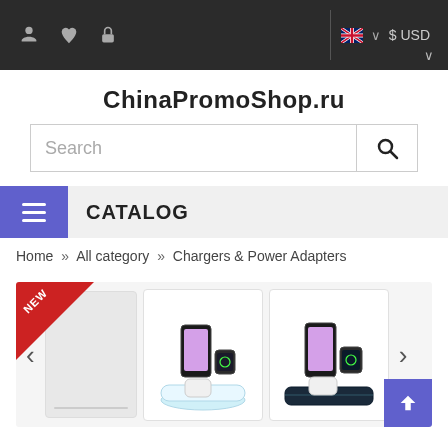Top navigation bar with user icons, flag, and $ USD currency selector
ChinaPromoShop.ru
[Figure (screenshot): Search bar with placeholder text 'Search' and magnifying glass icon]
CATALOG
Home » All category » Chargers & Power Adapters
[Figure (photo): Product carousel showing wireless charger docking stations for phone, watch, and earbuds. Two product cards visible with a NEW badge in top-left corner.]